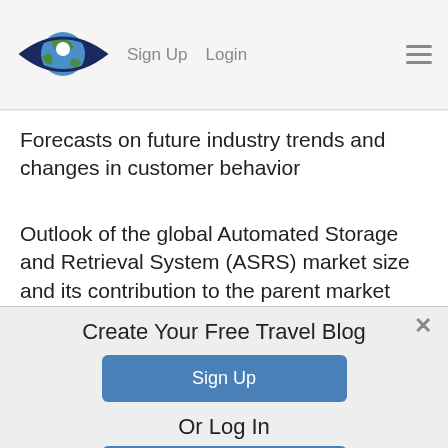Sign Up  Login
Forecasts on future industry trends and changes in customer behavior
Outlook of the global Automated Storage and Retrieval System (ASRS) market size and its contribution to the parent market
The growth and current status of the market in the
[Figure (screenshot): Modal overlay with 'Create Your Free Travel Blog' heading, a blue Sign Up button, 'Or Log In' text, and a blue Log In button. Dismissible with an X button.]
Create Your Free Travel Blog
Sign Up
Or Log In
Log In